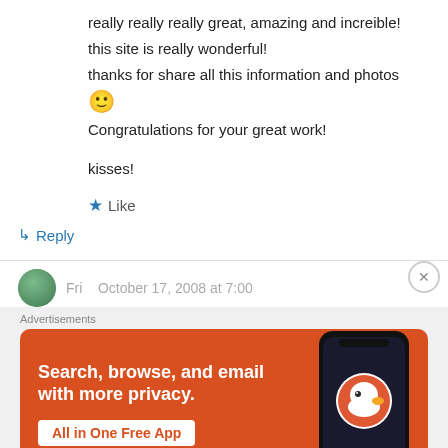really really really great, amazing and increible!
this site is really wonderful!
thanks for share all this information and photos
🙂
Congratulations for your great work!
kisses!
★ Like
↳ Reply
Advertisements
[Figure (screenshot): DuckDuckGo advertisement banner with orange background. Text reads 'Search, browse, and email with more privacy. All in One Free App'. Shows a phone with DuckDuckGo logo.]